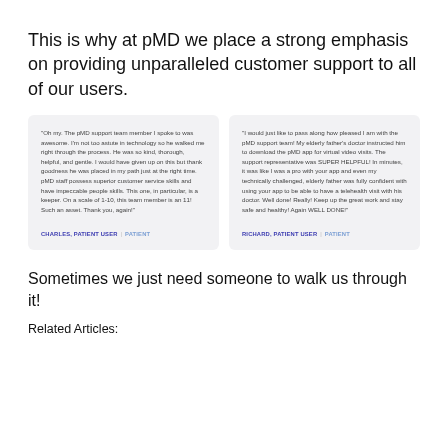This is why at pMD we place a strong emphasis on providing unparalleled customer support to all of our users.
"Oh my. The pMD support team member I spoke to was awesome. I'm not too astute in technology so he walked me right through the process. He was so kind, thorough, helpful, and gentle. I would have given up on this but thank goodness he was placed in my path just at the right time. pMD staff possess superior customer service skills and have impeccable people skills. This one, in particular, is a keeper. On a scale of 1-10, this team member is an 11! Such an asset. Thank you, again!"
CHARLES, PATIENT USER | PATIENT
"I would just like to pass along how pleased I am with the pMD support team! My elderly father's doctor instructed him to download the pMD app for virtual video visits. The support representative was SUPER HELPFUL! In minutes, it was like I was a pro with your app and even my technically challenged, elderly father was fully confident with using your app to be able to have a telehealth visit with his doctor. Well done! Really! Keep up the great work and stay safe and healthy! Again WELL DONE!"
RICHARD, PATIENT USER | PATIENT
Sometimes we just need someone to walk us through it!
Related Articles: